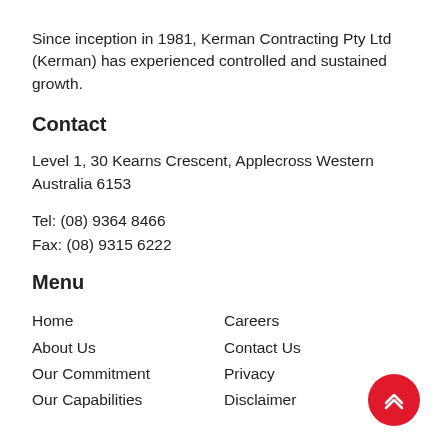Since inception in 1981, Kerman Contracting Pty Ltd (Kerman) has experienced controlled and sustained growth.
Contact
Level 1, 30 Kearns Crescent, Applecross Western Australia 6153
Tel: (08) 9364 8466
Fax: (08) 9315 6222
Menu
Home
About Us
Our Commitment
Our Capabilities
Careers
Contact Us
Privacy
Disclaimer